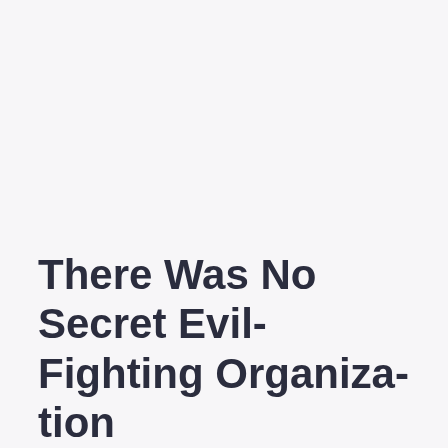There Was No Secret Evil-Fighting Organization